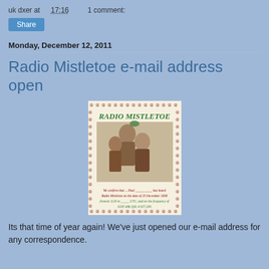uk dxer at 17:16    1 comment:
Share
Monday, December 12, 2011
Radio Mistletoe e-mail address open
[Figure (photo): QSL card for Radio Mistletoe with decorative border, text RADIO MISTLETOE, vintage photo of people, and handwritten QSL confirmation text at the bottom]
Its that time of year again! We've just opened our e-mail address for any correspondence.